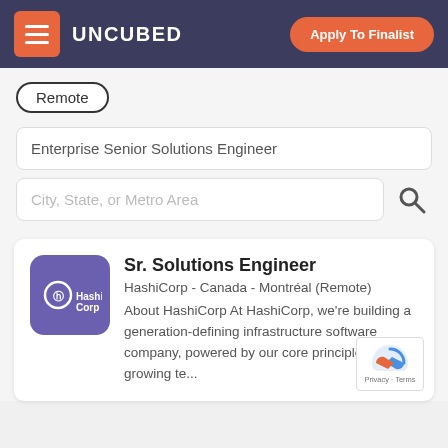UNCUBED — Apply To Finalist
Remote
Enterprise Senior Solutions Engineer
City, State, or Metro Area
Sr. Solutions Engineer
HashiCorp - Canada - Montréal (Remote) About HashiCorp At HashiCorp, we're building a generation-defining infrastructure software company, powered by our core principles and a growing te...